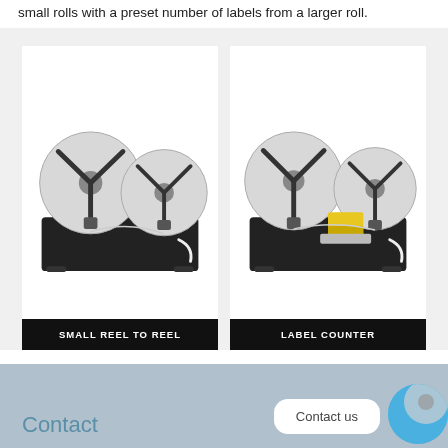small rolls with a preset number of labels from a larger roll.
[Figure (photo): Two product images side by side on light grey background. Left: Small Reel to Reel machine — a dark box base with two large disc spools on top. Right: Label Counter machine — similar dark box base with two disc spools and a yellow counter/sensor unit in the middle.]
SMALL REEL TO REEL
LABEL COUNTER
Contact
Contact us